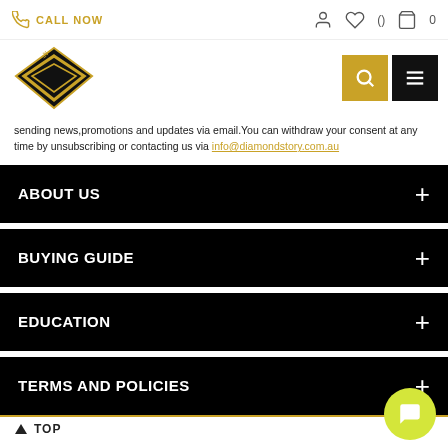CALL NOW
[Figure (logo): Diamond Story logo — black diamond shape with gold inner diamond and sparkle, gold text]
sending news,promotions and updates via email.You can withdraw your consent at any time by unsubscribing or contacting us via info@diamondstory.com.au
ABOUT US
BUYING GUIDE
EDUCATION
TERMS AND POLICIES
TOP